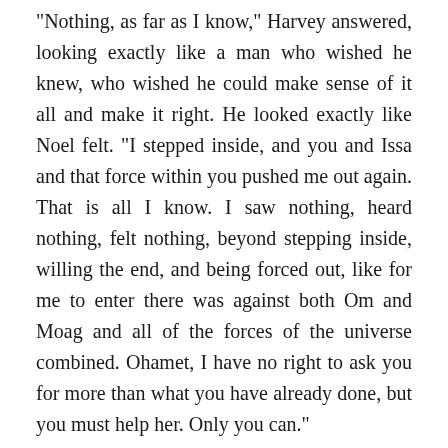“Nothing, as far as I know,” Harvey answered, looking exactly like a man who wished he knew, who wished he could make sense of it all and make it right. He looked exactly like Noel felt. “I stepped inside, and you and Issa and that force within you pushed me out again. That is all I know. I saw nothing, heard nothing, felt nothing, beyond stepping inside, willing the end, and being forced out, like for me to enter there was against both Om and Moag and all of the forces of the universe combined. Ohamet, I have no right to ask you for more than what you have already done, but you must help her. Only you can.”
Noel felt that too. He felt that deep in the soul of him. “I want to. I do,” he hissed uncomfortably, certain Isabella’s silence was a terrible sign. He had to tell Harvey the truth. Maybe together they could figure out what to do next. “You feel her, with empathy?”